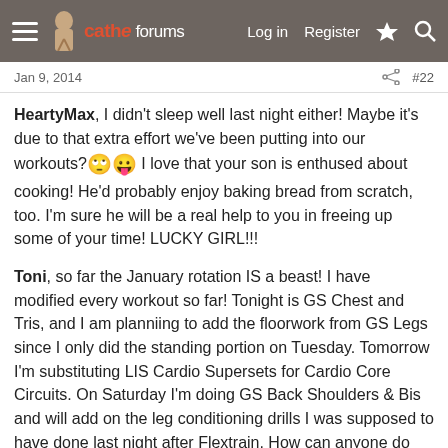cathe forums — Log in | Register
Jan 9, 2014  #22
HeartyMax, I didn't sleep well last night either! Maybe it's due to that extra effort we've been putting into our workouts? 🙄😛 I love that your son is enthused about cooking! He'd probably enjoy baking bread from scratch, too. I'm sure he will be a real help to you in freeing up some of your time! LUCKY GIRL!!!
Toni, so far the January rotation IS a beast! I have modified every workout so far! Tonight is GS Chest and Tris, and I am planniing to add the floorwork from GS Legs since I only did the standing portion on Tuesday. Tomorrow I'm substituting LIS Cardio Supersets for Cardio Core Circuits. On Saturday I'm doing GS Back Shoulders & Bis and will add on the leg conditioning drills I was supposed to have done last night after Flextrain. How can anyone do ANYTHING after Flextrain????? 🙄😛 Next week looks more manageable. I hope I can keep up with this rotation! 😱